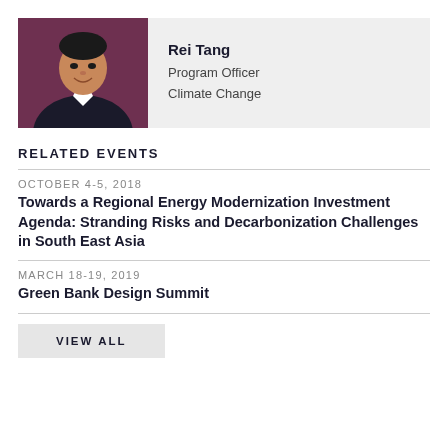[Figure (photo): Professional headshot of Rei Tang, a man in a dark suit with white shirt, smiling, against a dark reddish-purple background]
Rei Tang
Program Officer
Climate Change
RELATED EVENTS
OCTOBER 4-5, 2018
Towards a Regional Energy Modernization Investment Agenda: Stranding Risks and Decarbonization Challenges in South East Asia
MARCH 18-19, 2019
Green Bank Design Summit
VIEW ALL